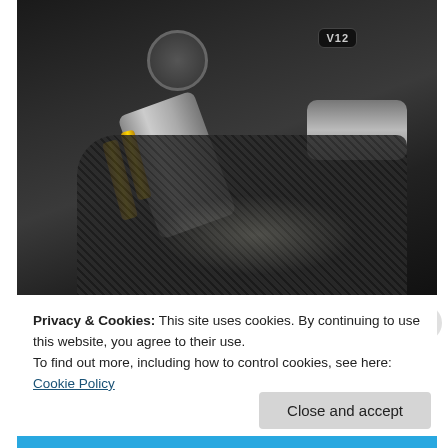[Figure (photo): Close-up photo of a V12 engine bay showing a silver shock absorber, gold suspension components, carbon fiber mesh panel/grille, intake pipes, and engine cap with V12 badge visible]
Privacy & Cookies: This site uses cookies. By continuing to use this website, you agree to their use.
To find out more, including how to control cookies, see here: Cookie Policy